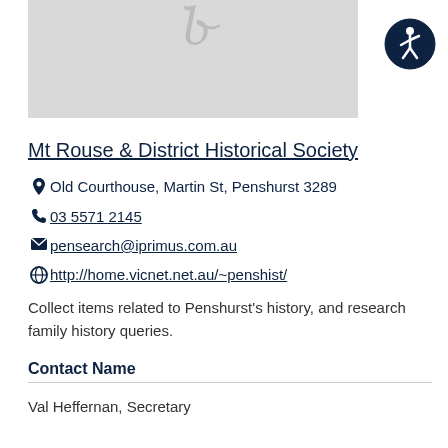[Figure (photo): Partial image with gray placeholder background, a partial decorative letter visible at top center]
[Figure (logo): Accessibility icon: dark navy circle with white wheelchair-accessible person symbol]
Mt Rouse & District Historical Society
Old Courthouse, Martin St, Penshurst 3289
03 5571 2145
pensearch@iprimus.com.au
http://home.vicnet.net.au/~penshist/
Collect items related to Penshurst's history, and research family history queries.
Contact Name
Val Heffernan, Secretary